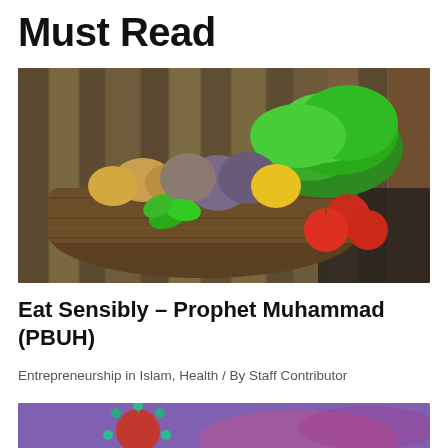Must Read
[Figure (photo): A wicker basket filled with fresh vegetables including tomatoes, onions, beets, yellow pepper, lettuce, and mint leaves, set against a wooden background.]
Eat Sensibly – Prophet Muhammad (PBUH)
Entrepreneurship in Islam, Health / By Staff Contributor
[Figure (photo): Close-up of a coronavirus (COVID-19) particle — red spherical shape with green spike proteins, on a purple blurred background.]